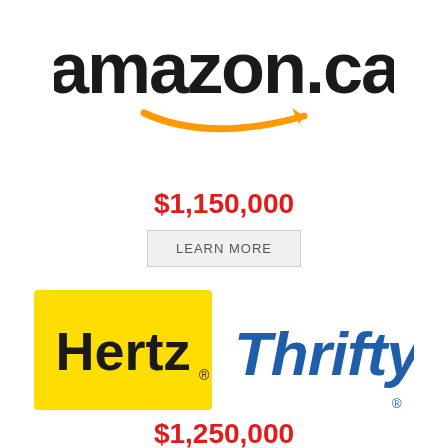[Figure (logo): Amazon.ca logo with black text and orange arrow/smile]
$1,150,000
LEARN MORE
[Figure (logo): Hertz logo (yellow background, black text) and Thrifty logo (blue italic text)]
$1,250,000